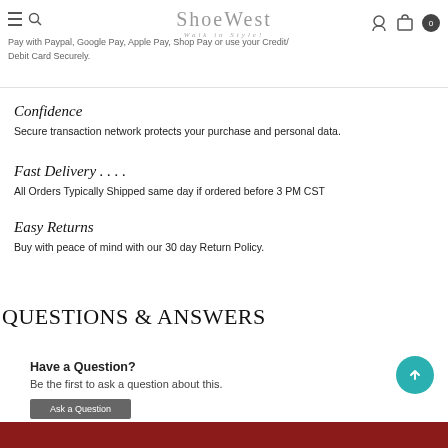Pay with Paypal, Google Pay, Apple Pay, Shop Pay or use your Credit/Debit Card Securely.
Confidence
Secure transaction network protects your purchase and personal data.
Fast Delivery . . . .
All Orders Typically Shipped same day if ordered before 3 PM CST
Easy Returns
Buy with peace of mind with our 30 day Return Policy.
QUESTIONS & ANSWERS
Have a Question?
Be the first to ask a question about this.